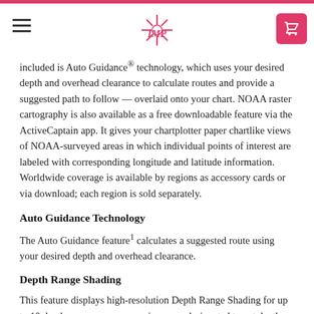IMP (logo)
included is Auto Guidance® technology, which uses your desired depth and overhead clearance to calculate routes and provide a suggested path to follow — overlaid onto your chart. NOAA raster cartography is also available as a free downloadable feature via the ActiveCaptain app. It gives your chartplotter paper chartlike views of NOAA-surveyed areas in which individual points of interest are labeled with corresponding longitude and latitude information. Worldwide coverage is available by regions as accessory cards or via download; each region is sold separately.
Auto Guidance Technology
The Auto Guidance feature¹ calculates a suggested route using your desired depth and overhead clearance.
Depth Range Shading
This feature displays high-resolution Depth Range Shading for up to 10 depth ranges so you can view your designated target depth.